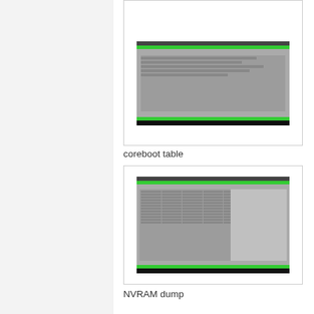[Figure (screenshot): Screenshot of coreboot table view showing a terminal/BIOS utility with green status bars at top and bottom and tabular data rows in the middle area (partially visible, cropped at top)]
coreboot table
[Figure (screenshot): Screenshot of coreboot NVRAM dump view showing a terminal/BIOS utility with green header and footer bars and a grid of hex/byte values filling the main area]
NVRAM dump
[Figure (screenshot): Screenshot of NVRAM dump detail view showing a terminal/BIOS utility with green header and footer bars and detailed hex dump with ASCII/text on the right side, partially visible at bottom]